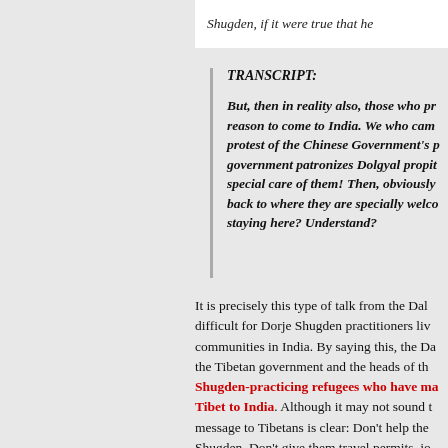Shugden, if it were true that he
TRANSCRIPT:
But, then in reality also, those who protest, reason to come to India. We who came protest of the Chinese Government's government patronizes Dolgyal propitiation, special care of them! Then, obviously back to where they are specially welcomed, staying here? Understand?
It is precisely this type of talk from the Dalai difficult for Dorje Shugden practitioners living communities in India. By saying this, the Dalai the Tibetan government and the heads of the Shugden-practicing refugees who have made Tibet to India. Although it may not sound the message to Tibetans is clear: Don't help them Shugden. Don't give them travel permits, join services, education, etc. Basically, make them have no choice but to return to Tibet to face